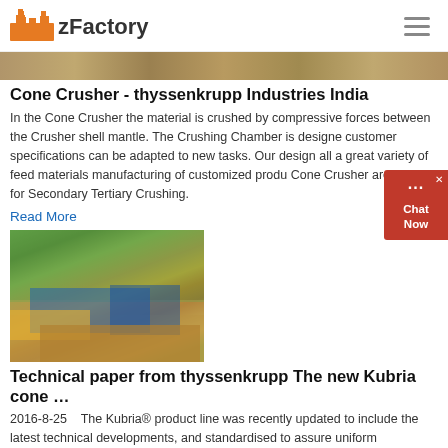zFactory
[Figure (photo): Horizontal banner image showing industrial/earthen background in brown and tan tones]
Cone Crusher - thyssenkrupp Industries India
In the Cone Crusher the material is crushed by compressive forces between the Crusher shell mantle. The Crushing Chamber is designed customer specifications can be adapted to new tasks. Our design all a great variety of feed materials manufacturing of customized produ Cone Crusher are used for Secondary Tertiary Crushing.
Read More
[Figure (photo): Blue and yellow tracked mobile crushing/screening machinery operating on a sandy construction site with trees in the background]
Technical paper from thyssenkrupp The new Kubria cone …
2016-8-25    The Kubria® product line was recently updated to include the latest technical developments, and standardised to assure uniform manufacturing standards maintained at thyssenkrupp locations around